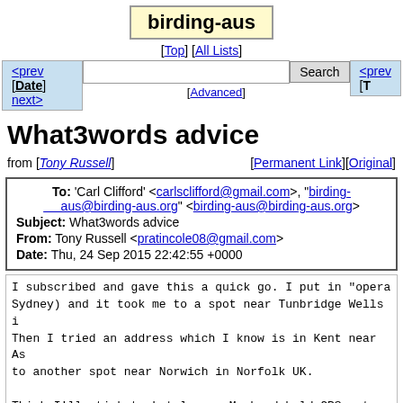birding-aus
[Top] [All Lists]
Search [Advanced]
<prev [Date] next>   <prev [T
What3words advice
from [Tony Russell]   [Permanent Link][Original]
| To: 'Carl Clifford' <carlsclifford@gmail.com>, "birding-aus@birding-aus.org" <birding-aus@birding-aus.org> |
| Subject: What3words advice |
| From: Tony Russell <pratincole08@gmail.com> |
| Date: Thu, 24 Sep 2015 22:42:55 +0000 |
I subscribed and gave this a quick go. I put in "opera Sydney) and it took me to a spot near Tunbridge Wells i Then I tried an address which I know is in Kent near As to another spot near Norwich in Norfolk UK.

Think I'll stick to Lat longs. My hand held GPS got me ( no names, no roads even) without any difficulty.

Unsubscribed.  Negative ? Some will say so, but why fix broke.